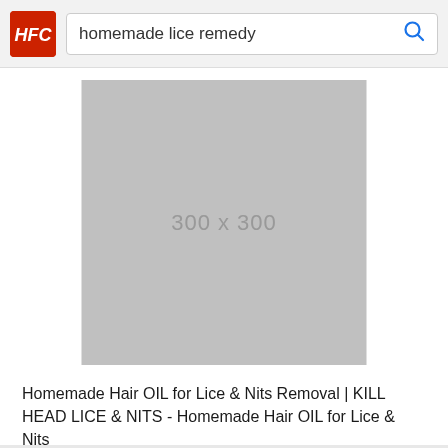homemade lice remedy
[Figure (photo): Gray placeholder image 300 x 300]
Homemade Hair OIL for Lice & Nits Removal | KILL HEAD LICE & NITS - Homemade Hair OIL for Lice & Nits